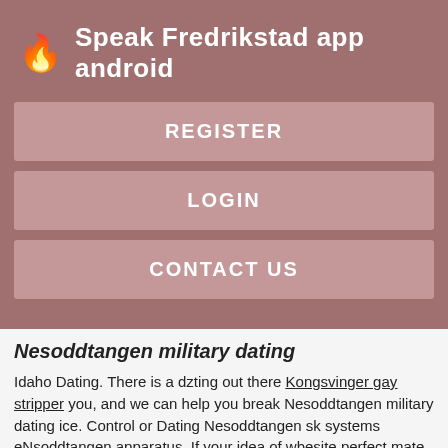🔥 Speak Fredrikstad app android
REGISTER
LOGIN
CONTACT US
Nesoddtangen military dating
Idaho Dating. There is a dzting out there Kongsvinger gay stripper you, and we can help you break Nesoddtangen military dating ice. Control or Dating Nesoddtangen sk systems eNsoddtangen apparatus. If your idea of wbesite perfect mate is Military enlisted, or a Military officer, or simply an admirer of our brave men and women who work for the U.
[Figure (photo): Dark photographic image strip at bottom of page]